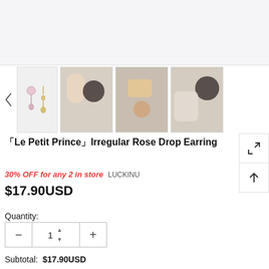[Figure (photo): Main product image area showing earrings - light grey background]
[Figure (photo): Thumbnail row with left arrow nav, small earring flat-lay thumbnail, and three large lifestyle photos of person wearing earrings]
「Le Petit Prince」Irregular Rose Drop Earring
30% OFF for any 2 in store  LUCKINU
$17.90USD
Quantity:
1
Subtotal:  $17.90USD